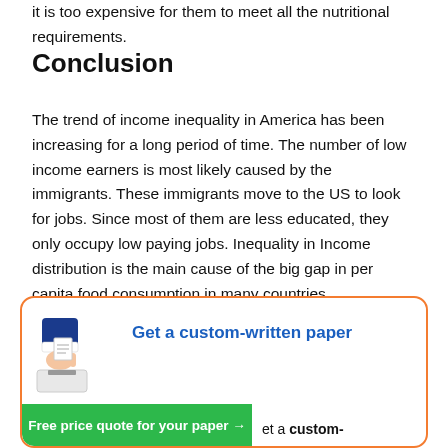it is too expensive for them to meet all the nutritional requirements.
Conclusion
The trend of income inequality in America has been increasing for a long period of time. The number of low income earners is most likely caused by the immigrants. These immigrants move to the US to look for jobs. Since most of them are less educated, they only occupy low paying jobs. Inequality in Income distribution is the main cause of the big gap in per capita food consumption in many countries.
[Figure (illustration): Promotional advertisement box with orange border. Shows a hand inserting paper into a slot (illustration). Text reads 'Get a custom-written paper'. Green button at bottom left reads 'Free price quote for your paper →'. Bottom right text reads 'et a custom-']
Get a custom-written paper